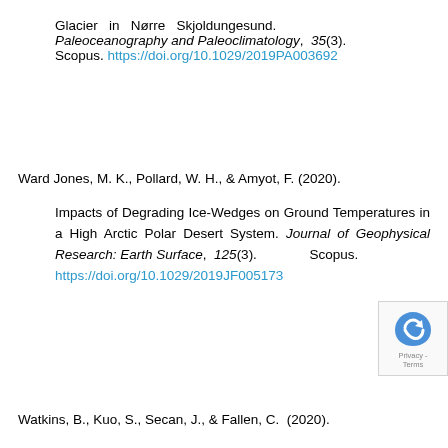Glacier in Nørre Skjoldungesund. Paleoceanography and Paleoclimatology, 35(3). Scopus. https://doi.org/10.1029/2019PA003692
Ward Jones, M. K., Pollard, W. H., & Amyot, F. (2020). Impacts of Degrading Ice-Wedges on Ground Temperatures in a High Arctic Polar Desert System. Journal of Geophysical Research: Earth Surface, 125(3). Scopus. https://doi.org/10.1029/2019JF005173
Watkins, B., Kuo, S., Secan, J., & Fallen, C. (2020).